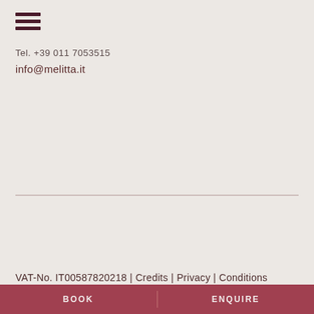[Figure (other): Hamburger menu icon with three dark horizontal lines]
Tel. +39 011 7053515
info@melitta.it
VAT-No. IT00587820218 | Credits | Privacy | Conditions
BOOK | ENQUIRE